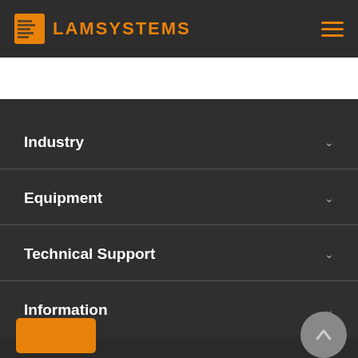LAMSYSTEMS
Industry
Equipment
Technical Support
Information
[Figure (screenshot): Orange rectangular button at bottom left]
[Figure (other): Scroll-to-top circular button with upward arrow at bottom right]